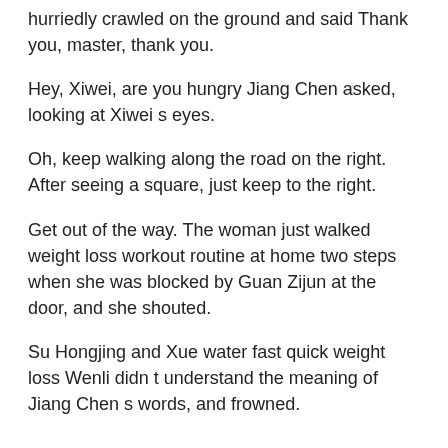hurriedly crawled on the ground and said Thank you, master, thank you.
Hey, Xiwei, are you hungry Jiang Chen asked, looking at Xiwei s eyes.
Oh, keep walking along the road on the right. After seeing a square, just keep to the right.
Get out of the way. The woman just walked weight loss workout routine at home two steps when she was blocked by Guan Zijun at the door, and she shouted.
Su Hongjing and Xue water fast quick weight loss Wenli didn t understand the meaning of Jiang Chen s words, and frowned.